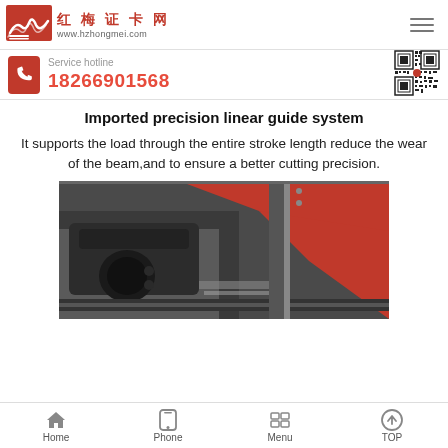[Figure (logo): 红梅证卡网 logo with red icon and URL www.hzhongmei.com]
Service hotline
18266901568
[Figure (other): QR code for website]
Imported precision linear guide system
It supports the load through the entire stroke length reduce the wear of the beam,and to ensure a better cutting precision.
[Figure (photo): Close-up photo of a precision linear guide rail system on a machine, showing a black metal guide block on a rail with a red surface visible in the background.]
Home   Phone   Menu   TOP